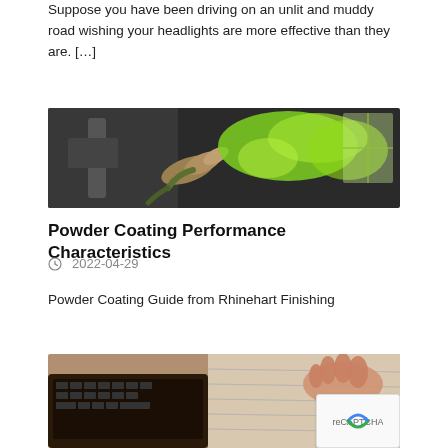Suppose you have been driving on an unlit and muddy road wishing your headlights are more effective than they are. […]
[Figure (photo): A powder coating spray gun applying bright green/yellow powder coat to a surface]
Powder Coating Performance Characteristics
2022-04-29
Powder Coating Guide from Rhinehart Finishing
[Figure (photo): A person's hand working near a laptop keyboard, with papers visible]